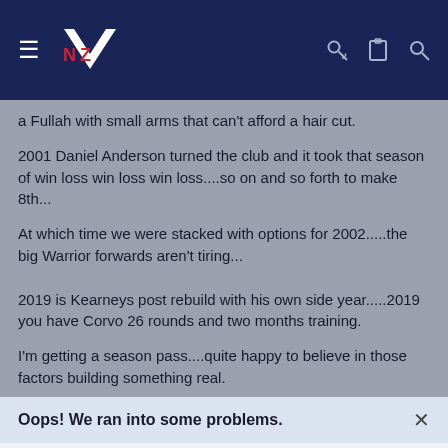Navigation bar with Warriors NZ logo, hamburger menu, key icon, clipboard icon, search icon
a Fullah with small arms that can't afford a hair cut.
2001 Daniel Anderson turned the club and it took that season of win loss win loss win loss....so on and so forth to make 8th...
At which time we were stacked with options for 2002.....the big Warrior forwards aren't tiring...
2019 is Kearneys post rebuild with his own side year.....2019 you have Corvo 26 rounds and two months training.
I'm getting a season pass....quite happy to believe in those factors building something real.
Oops! We ran into some problems.
Cookies are required to use this site. You must accept them to continue using the site.